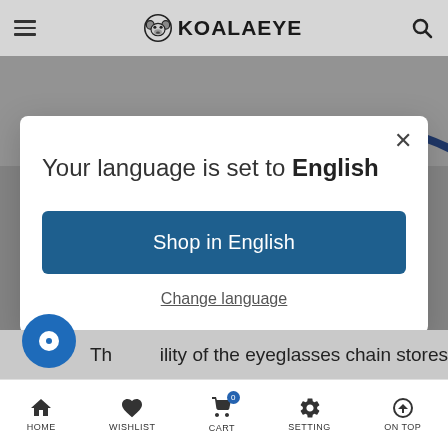KOALAEYE
[Figure (screenshot): Partial view of eyeglasses product images in background]
Your language is set to English
Shop in English
Change language
The quality of the eyeglasses chain stores is
HOME  WISHLIST  CART  SETTING  ON TOP